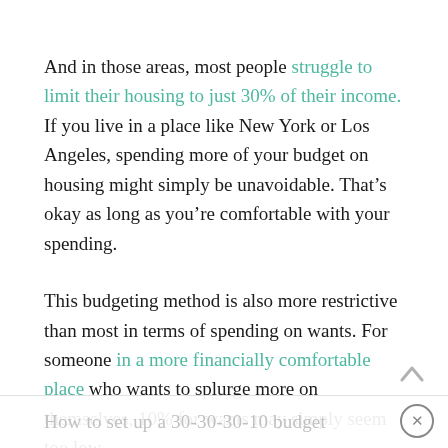And in those areas, most people struggle to limit their housing to just 30% of their income. If you live in a place like New York or Los Angeles, spending more of your budget on housing might simply be unavoidable. That’s okay as long as you’re comfortable with your spending.
This budgeting method is also more restrictive than most in terms of spending on wants. For someone in a more financially comfortable place who wants to splurge more on themselves, 10% for wants may simply seem too low.
How to set up a 30-30-30-10 budget